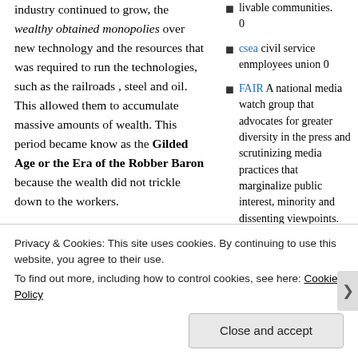fragmented the farmers loss of power. As the industry continued to grow, the wealthy obtained monopolies over new technology and the resources that was required to run the technologies, such as the railroads , steel and oil.  This allowed them to accumulate massive amounts of wealth.  This period became know as the Gilded Age or the Era of the Robber Baron because the wealth did not trickle down to the workers.
Soon the twentieth century had arrived with the average income of working class Americans being less than $10,000 per year in todays
livable communities. 0
csea civil service enmployees union 0
FAIR A national media watch group that advocates for greater diversity in the press and scrutinizing media practices that marginalize public interest, minority and dissenting viewpoints. 0
HEALTH & FITNESS get
Privacy & Cookies: This site uses cookies. By continuing to use this website, you agree to their use. To find out more, including how to control cookies, see here: Cookie Policy
Close and accept